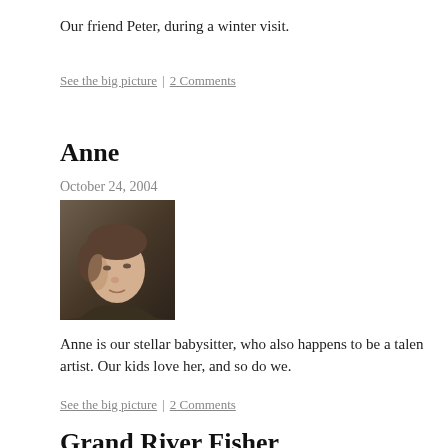Our friend Peter, during a winter visit.
See the big picture | 2 Comments
Anne
October 24, 2004
[Figure (photo): Portrait photo of Anne, a young woman with light hair pulled back, photographed in low light against a dark background.]
Anne is our stellar babysitter, who also happens to be a talen artist. Our kids love her, and so do we.
See the big picture | 2 Comments
Grand River Fisher